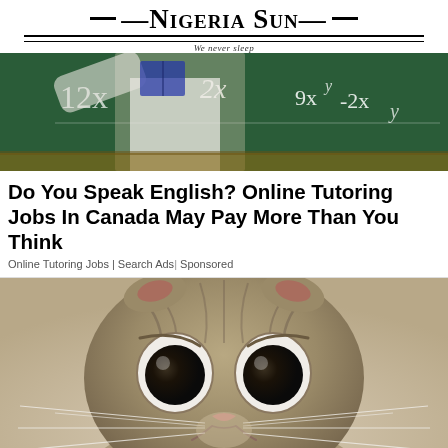Nigeria Sun — We never sleep
[Figure (photo): Classroom chalkboard photo showing math equations and a person in a white shirt holding a book]
Do You Speak English? Online Tutoring Jobs In Canada May Pay More Than You Think
Online Tutoring Jobs | Search Ads | Sponsored
[Figure (photo): Close-up photo of a sad-looking Scottish Fold cat with big round eyes looking directly at camera]